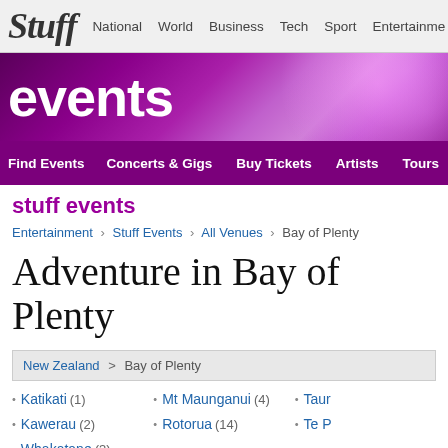Stuff | National | World | Business | Tech | Sport | Entertainment
[Figure (screenshot): Stuff Events purple banner with bokeh light effect and large white 'events' text]
Find Events | Concerts & Gigs | Buy Tickets | Artists | Tours | Venue
stuff events
Entertainment > Stuff Events > All Venues > Bay of Plenty
Adventure in Bay of Plenty
New Zealand > Bay of Plenty
Katikati (1)
Mt Maunganui (4)
Kawerau (2)
Rotorua (14)
Whakatane (3)
Adver...